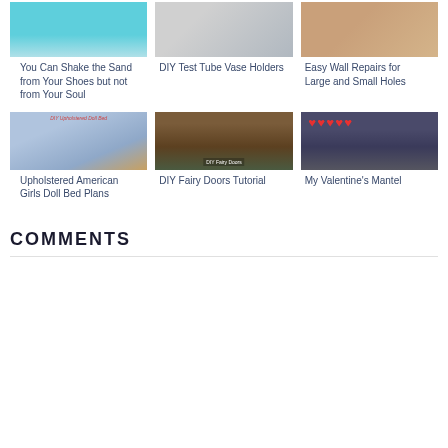[Figure (photo): Thumbnail image for beach/sand article]
You Can Shake the Sand from Your Shoes but not from Your Soul
[Figure (photo): Thumbnail image for DIY Test Tube Vase Holders]
DIY Test Tube Vase Holders
[Figure (photo): Thumbnail image for Easy Wall Repairs]
Easy Wall Repairs for Large and Small Holes
[Figure (photo): Thumbnail of upholstered doll bed with label 'DIY Upholstered Doll Bed']
Upholstered American Girls Doll Bed Plans
[Figure (photo): Thumbnail of fairy doors in tree with label 'DIY Fairy Doors']
DIY Fairy Doors Tutorial
[Figure (photo): Thumbnail of Valentine's mantel with hearts and fireplace]
My Valentine's Mantel
COMMENTS